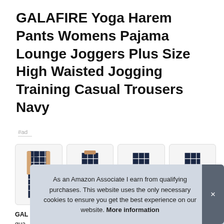GALAFIRE Yoga Harem Pants Womens Pajama Lounge Joggers Plus Size High Waisted Jogging Training Casual Trousers Navy
#ad
[Figure (photo): Four product images of navy plaid harem/yoga pants worn by a model, shown in slightly different poses and angles, each in a rounded-corner bordered box.]
As an Amazon Associate I earn from qualifying purchases. This website uses the only necessary cookies to ensure you get the best experience on our website. More information
GAL... qua... the...